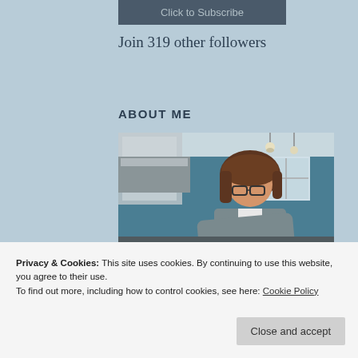[Figure (screenshot): Dark teal/gray button with text 'Click to Subscribe']
Join 319 other followers
ABOUT ME
[Figure (photo): Woman with glasses and brown hair in a kitchen with teal walls and pendant lights, leaning forward, wearing a gray cardigan]
Privacy & Cookies: This site uses cookies. By continuing to use this website, you agree to their use.
To find out more, including how to control cookies, see here: Cookie Policy